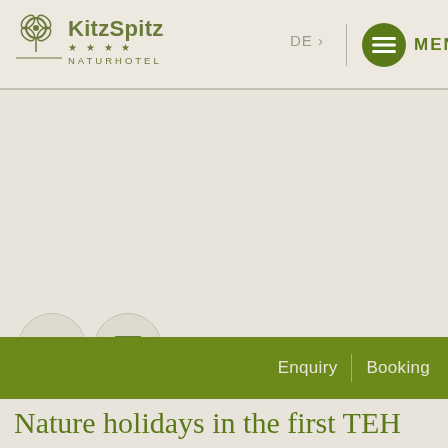KitzSpitz NATURHOTEL | DE > | MENU
[Figure (logo): KitzSpitz Naturhotel logo with four-leaf clover icon and four stars]
DE >
MENU
[Figure (illustration): Phone contact icon circle button]
[Figure (illustration): Email/envelope contact icon circle button]
Enquiry | Booking
Nature holidays in the first TEH